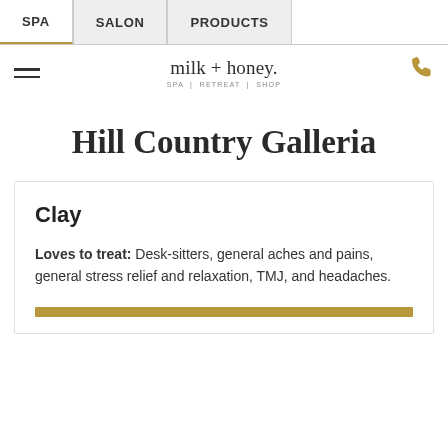SPA | SALON | PRODUCTS
milk + honey. SPA | RETREAT | SHOP
Hill Country Galleria
Clay
Loves to treat: Desk-sitters, general aches and pains, general stress relief and relaxation, TMJ, and headaches.